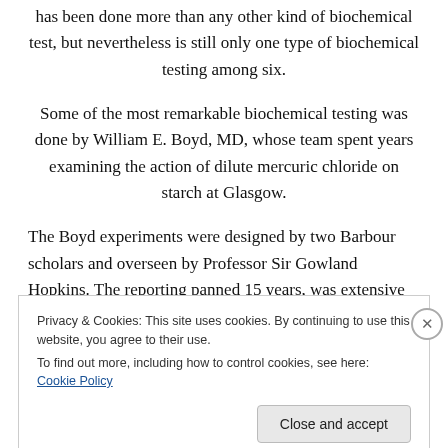has been done more than any other kind of biochemical test, but nevertheless is still only one type of biochemical testing among six.
Some of the most remarkable biochemical testing was done by William E. Boyd, MD, whose team spent years examining the action of dilute mercuric chloride on starch at Glasgow.
The Boyd experiments were designed by two Barbour scholars and overseen by Professor Sir Gowland Hopkins. The reporting panned 15 years, was extensive and
Privacy & Cookies: This site uses cookies. By continuing to use this website, you agree to their use.
To find out more, including how to control cookies, see here: Cookie Policy